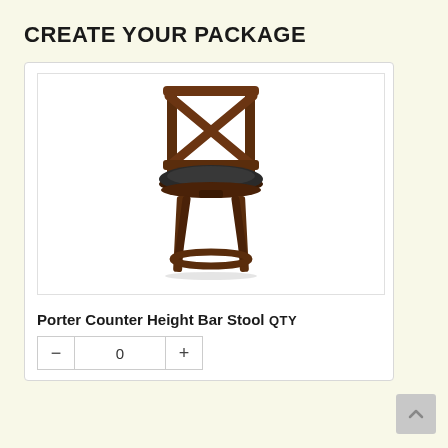CREATE YOUR PACKAGE
[Figure (photo): Porter Counter Height Bar Stool – dark walnut wood frame with X-back design, upholstered dark seat cushion, four legs connected by a round foot ring]
Porter Counter Height Bar Stool
QTY
- 0 +